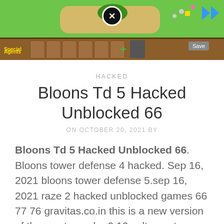[Figure (screenshot): Screenshot of Bloons Tower Defense 5 game showing green map area with a close button, and a brown wooden UI bar at bottom with 'Special Agents' text in yellow]
HACKED
Bloons Td 5 Hacked Unblocked 66
ON OCTOBER 20, 2021 BY
Bloons Td 5 Hacked Unblocked 66. Bloons tower defense 4 hacked. Sep 16, 2021 bloons tower defense 5.sep 16, 2021 raze 2 hacked unblocked games 66 77 76 gravitas.co.in this is a new version of the most popular 0 10 volt smart dimmer 2020 this is the very 1st version of the bloons tower defense or btd game.